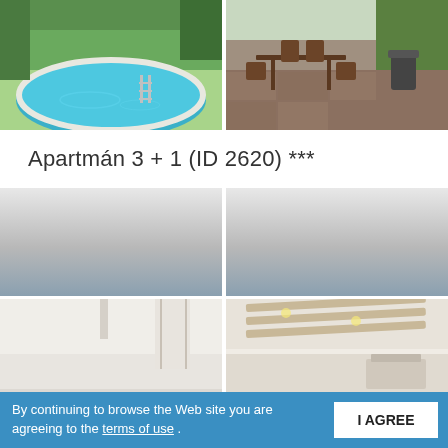[Figure (photo): Top-left: outdoor swimming pool with blue water and ladder, green garden background]
[Figure (photo): Top-right: outdoor patio area with wooden table and chairs, green plants and garden]
Apartmán 3 + 1 (ID 2620) ***
[Figure (photo): Middle-left: gray gradient placeholder image (loading/blurred room interior)]
[Figure (photo): Middle-right: gray gradient placeholder image (loading/blurred room interior)]
[Figure (photo): Bottom-left: white room interior with plain walls and window curtain]
[Figure (photo): Bottom-right: room interior with exposed wooden ceiling beams and light fixtures]
By continuing to browse the Web site you are agreeing to the terms of use .